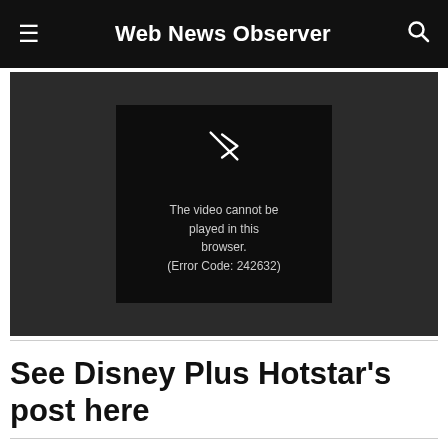Web News Observer
[Figure (screenshot): Video player showing an error message: 'The video cannot be played in this browser. (Error Code: 242632)' on a dark background with a play/broken video icon.]
See Disney Plus Hotstar's post here